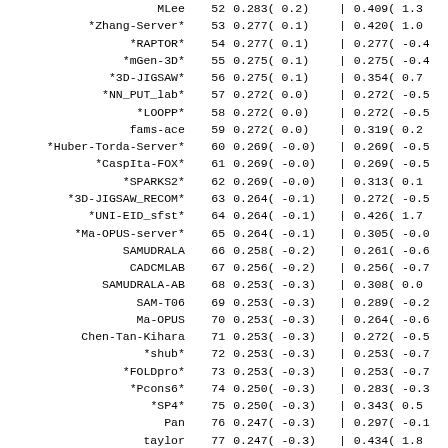| Name | Rank | Score1 |  | Score2 |
| --- | --- | --- | --- | --- |
| MLee | 52 | 0.283(  0.2) | | | 0.409(  1.3 |
| *Zhang-Server* | 53 | 0.277(  0.1) | | | 0.420(  1.0 |
| *RAPTOR* | 54 | 0.277(  0.1) | | | 0.277( -0.4 |
| *mGen-3D* | 55 | 0.275(  0.1) | | | 0.275( -0.4 |
| *3D-JIGSAW* | 56 | 0.275(  0.1) | | | 0.354(  0.7 |
| *NN_PUT_lab* | 57 | 0.272(  0.0) | | | 0.272( -0.5 |
| *LOOPP* | 58 | 0.272(  0.0) | | | 0.272( -0.5 |
| fams-ace | 59 | 0.272(  0.0) | | | 0.319(  0.2 |
| *Huber-Torda-Server* | 60 | 0.269( -0.0) | | | 0.269( -0.5 |
| *CaspIta-FOX* | 61 | 0.269( -0.0) | | | 0.269( -0.5 |
| *SPARKS2* | 62 | 0.269( -0.0) | | | 0.313(  0.1 |
| *3D-JIGSAW_RECOM* | 63 | 0.264( -0.1) | | | 0.272( -0.5 |
| *UNI-EID_sfst* | 64 | 0.264( -0.1) | | | 0.426(  1.7 |
| *Ma-OPUS-server* | 65 | 0.264( -0.1) | | | 0.305( -0.0 |
| SAMUDRALA | 66 | 0.258( -0.2) | | | 0.261( -0.6 |
| CADCMLAB | 67 | 0.256( -0.2) | | | 0.256( -0.7 |
| SAMUDRALA-AB | 68 | 0.253( -0.3) | | | 0.308(  0.0 |
| SAM-T06 | 69 | 0.253( -0.3) | | | 0.289( -0.2 |
| Ma-OPUS | 70 | 0.253( -0.3) | | | 0.264( -0.6 |
| Chen-Tan-Kihara | 71 | 0.253( -0.3) | | | 0.272( -0.5 |
| *shub* | 72 | 0.253( -0.3) | | | 0.253( -0.7 |
| *FOLDpro* | 73 | 0.253( -0.3) | | | 0.253( -0.7 |
| *Pcons6* | 74 | 0.250( -0.3) | | | 0.283( -0.3 |
| *SP4* | 75 | 0.250( -0.3) | | | 0.343(  0.5 |
| Pan | 76 | 0.247( -0.3) | | | 0.297( -0.1 |
| taylor | 77 | 0.247( -0.3) | | | 0.434(  1.8 |
| *GeneSilicoMetaServer* | 78 | 0.244( -0.4) | | | 0.299( -0.1 |
| CBSU | 79 | 0.244( -0.4) | | | 0.250( -0.8 |
| *PROTINFO-AB* | 80 | 0.244( -0.4) | | | 0.258( -0.6 |
| Cracow.pl | 81 | 0.242( -0.4) | | | 0.242( -0.8 |